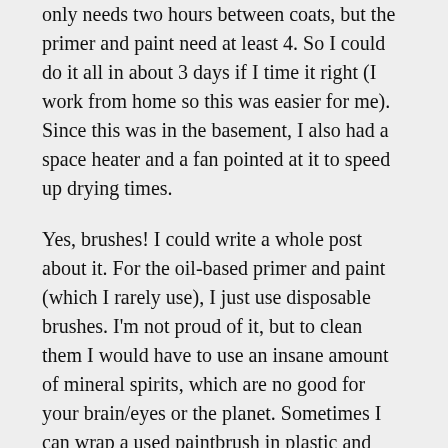only needs two hours between coats, but the primer and paint need at least 4. So I could do it all in about 3 days if I time it right (I work from home so this was easier for me). Since this was in the basement, I also had a space heater and a fan pointed at it to speed up drying times.
Yes, brushes! I could write a whole post about it. For the oil-based primer and paint (which I rarely use), I just use disposable brushes. I'm not proud of it, but to clean them I would have to use an insane amount of mineral spirits, which are no good for your brain/eyes or the planet. Sometimes I can wrap a used paintbrush in plastic and then it's still wet for the second coat.